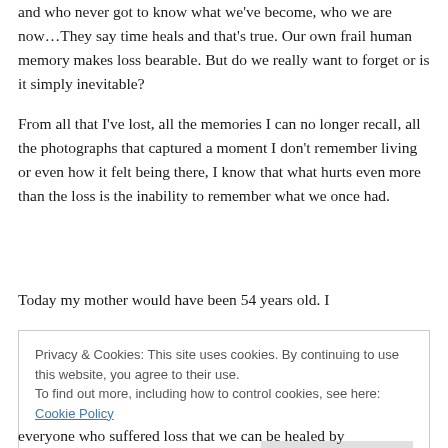and who never got to know what we've become, who we are now…They say time heals and that's true. Our own frail human memory makes loss bearable. But do we really want to forget or is it simply inevitable?
From all that I've lost, all the memories I can no longer recall, all the photographs that captured a moment I don't remember living or even how it felt being there, I know that what hurts even more than the loss is the inability to remember what we once had.
Today my mother would have been 54 years old. I
Privacy & Cookies: This site uses cookies. By continuing to use this website, you agree to their use.
To find out more, including how to control cookies, see here: Cookie Policy
everyone who suffered loss that we can be healed by